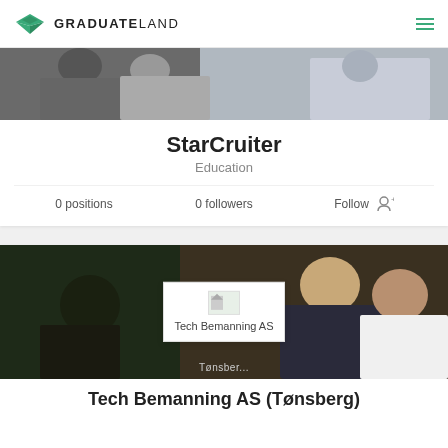GRADUATELAND
[Figure (photo): Banner photo of people working/studying]
StarCruiter
Education
0 positions   0 followers   Follow
[Figure (photo): Banner photo of two people at a meeting with company popup showing Tech Bemanning AS logo]
Tech Bemanning AS (Tønsberg)